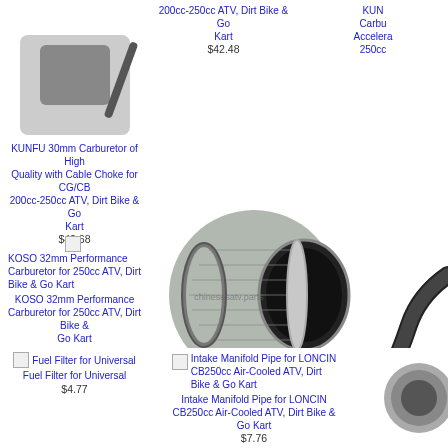KUNFU 30mm Carburetor of High Quality with Cable Choke for CG/CB 200cc-250cc ATV, Dirt Bike & Go Kart
$42.68
200cc-250cc ATV, Dirt Bike & Go Kart
$42.48
KUNFU Carbu Accelera 250cc
KOSO 32mm Performance Carburetor for 250cc ATV, Dirt Bike & Go Kart
$51.49
[Figure (photo): 44mm cone air filter for CB/CG 200cc-250cc ATV & Dirt Bike, cylindrical metal mesh filter with clamp]
44mm Air Filter for CB/CG 200cc-250cc ATV & Dirt Bike
$8.34
44mm A...
Fuel Filter for Universal
$4.77
Intake Manifold Pipe for LONCIN CB250cc Air-Cooled ATV, Dirt Bike & Go Kart
$7.76